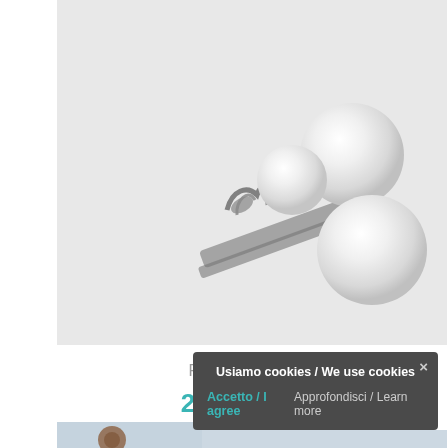[Figure (photo): Close-up photo of a silver hair clip/brooch with three white pearl decorations on a light gray background]
Fermaglio
20,00 €
[Figure (photo): Partial photo of jewelry item on light blue/gray background, partially obscured by cookie consent banner]
Usiamo cookies / We use cookies
Accetto / I agree
Approfondisci / Learn more